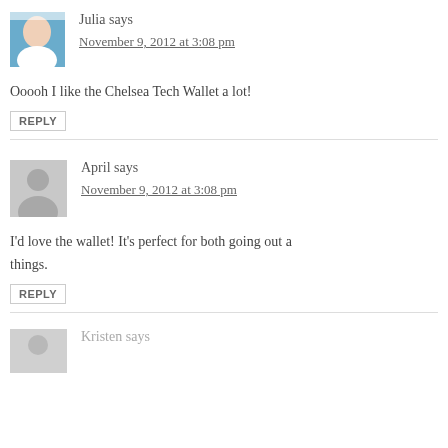Julia says
November 9, 2012 at 3:08 pm
Ooooh I like the Chelsea Tech Wallet a lot!
REPLY
April says
November 9, 2012 at 3:08 pm
I'd love the wallet! It's perfect for both going out a things.
REPLY
Kristen says